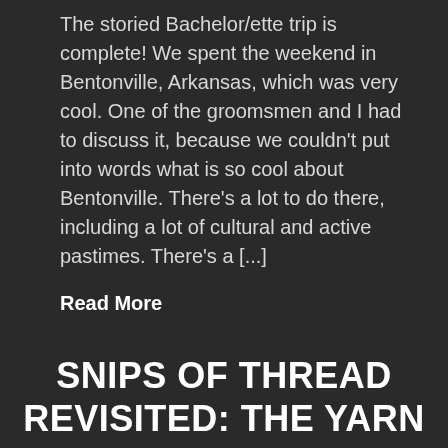The storied Bachelor/ette trip is complete! We spent the weekend in Bentonville, Arkansas, which was very cool. One of the groomsmen and I had to discuss it, because we couldn't put into words what is so cool about Bentonville. There's a lot to do there, including a lot of cultural and active pastimes. There's a [...]
Read More
SNIPS OF THREAD REVISITED: THE YARN